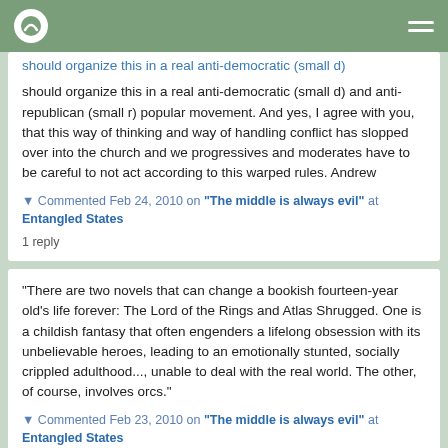should organize this in a real anti-democratic (small d) and anti-republican (small r) popular movement. And yes, I agree with you, that this way of thinking and way of handling conflict has slopped over into the church and we progressives and moderates have to be careful to not act according to this warped rules. Andrew
▼ Commented Feb 24, 2010 on "The middle is always evil" at Entangled States
1 reply
"There are two novels that can change a bookish fourteen-year old's life forever: The Lord of the Rings and Atlas Shrugged. One is a childish fantasy that often engenders a lifelong obsession with its unbelievable heroes, leading to an emotionally stunted, socially crippled adulthood..., unable to deal with the real world. The other, of course, involves orcs."
▼ Commented Feb 23, 2010 on "The middle is always evil" at Entangled States
1 reply
It seems that many churches do in fact try to grow by